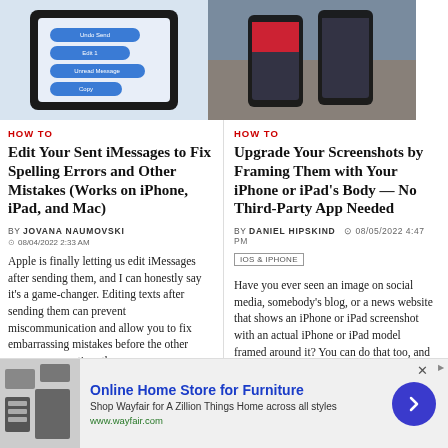[Figure (photo): iPhone screen showing iMessages editing options with blue buttons]
[Figure (photo): Two iPhones on a wooden surface showing screenshots]
HOW TO
Edit Your Sent iMessages to Fix Spelling Errors and Other Mistakes (Works on iPhone, iPad, and Mac)
BY JOVANA NAUMOVSKI
08/04/2022 2:33 AM
Apple is finally letting us edit iMessages after sending them, and I can honestly say it's a game-changer. Editing texts after sending them can prevent miscommunication and allow you to fix embarrassing mistakes before the other person even notices them.
HOW TO
Upgrade Your Screenshots by Framing Them with Your iPhone or iPad's Body — No Third-Party App Needed
BY DANIEL HIPSKIND
08/05/2022 4:47 PM
IOS & IPHONE
Have you ever seen an image on social media, somebody's blog, or a news website that shows an iPhone or iPad screenshot with an actual iPhone or iPad model framed around it? You can do that too, and it's really easy to accomplish with a third-party app — but you can do the same thing with
[Figure (screenshot): Advertisement banner for Wayfair Online Home Store for Furniture]
Online Home Store for Furniture
Shop Wayfair for A Zillion Things Home across all styles
www.wayfair.com